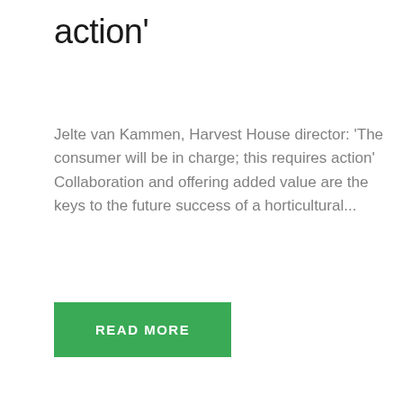action'
Jelte van Kammen, Harvest House director: 'The consumer will be in charge; this requires action' Collaboration and offering added value are the keys to the future success of a horticultural...
READ MORE
[Figure (photo): Photo of rockwool grow cubes arranged in a dark tray, viewed from an angle. The cubes are green-brown colored and have small holes in the center.]